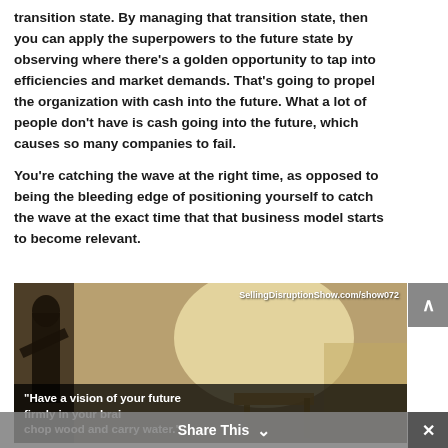transition state. By managing that transition state, then you can apply the superpowers to the future state by observing where there's a golden opportunity to tap into efficiencies and market demands. That's going to propel the organization with cash into the future. What a lot of people don't have is cash going into the future, which causes so many companies to fail.
You're catching the wave at the right time, as opposed to being the bleeding edge of positioning yourself to catch the wave at the exact time that that business model starts to become relevant.
[Figure (photo): Outdoor photo of a person, with URL SellingDisruptionShow.com/show072 overlaid at top right. At the bottom a dark caption bar reads: "Have a vision of your future firmly in your brain... chop wood and carry water."]